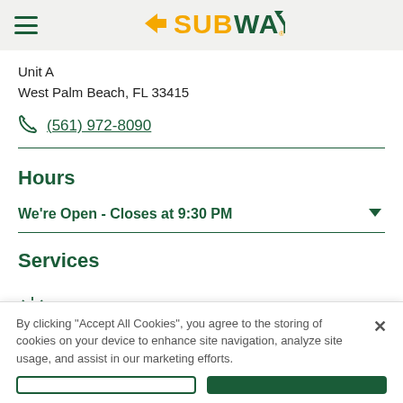SUBWAY
Unit A
West Palm Beach, FL 33415
(561) 972-8090
Hours
We're Open - Closes at 9:30 PM
Services
Breakfast
By clicking "Accept All Cookies", you agree to the storing of cookies on your device to enhance site navigation, analyze site usage, and assist in our marketing efforts.